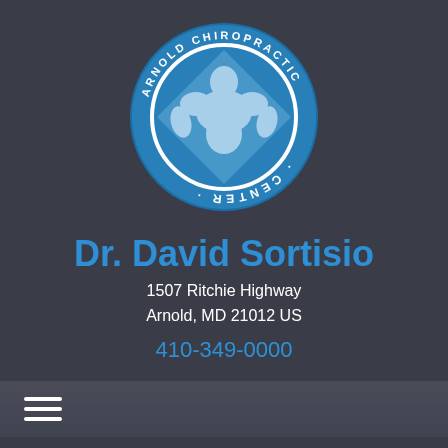[Figure (logo): Arnold Chiropractic Center circular logo with blue background, showing a back/spine silhouette figure in the center with text 'ARNOLD CHIROPRACTIC CENTER' around the ring]
Dr. David Sortisio
1507 Ritchie Highway
Arnold, MD 21012 US
410-349-0000
NEW PATIENTS MAKE AN